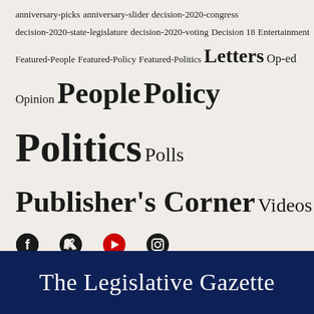anniversary-picks anniversary-slider decision-2020-congress decision-2020-state-legislature decision-2020-voting Decision 18 Entertainment Featured-People Featured-Policy Featured-Politics Letters Op-ed Opinion People Policy Politics Polls Publisher's Corner Videos
[Figure (other): Social media icons: Facebook, Twitter, YouTube, Instagram]
The Legislative Gazette